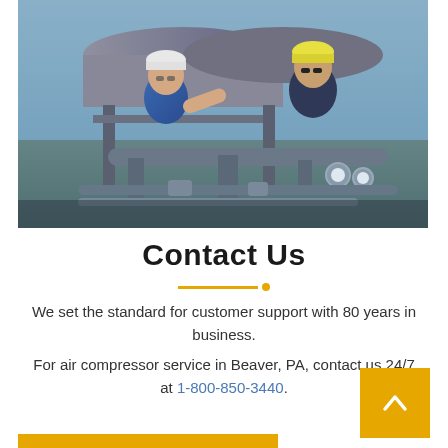[Figure (photo): Two workers in hard hats and safety glasses working on industrial air compressor equipment outdoors. One worker in blue shirt is using a wrench, another in dark uniform is observing.]
Contact Us
We set the standard for customer support with 80 years in business.
For air compressor service in Beaver, PA, contact us 24/7 at 1-800-850-3440.